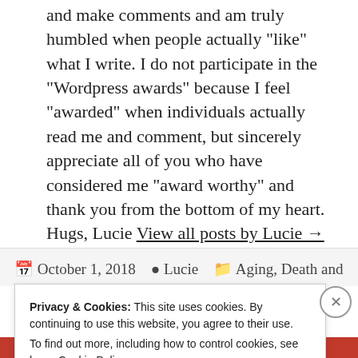and make comments and am truly humbled when people actually "like" what I write. I do not participate in the "Wordpress awards" because I feel "awarded" when individuals actually read me and comment, but sincerely appreciate all of you who have considered me "award worthy" and thank you from the bottom of my heart. Hugs, Lucie View all posts by Lucie →
October 1, 2018  Lucie  Aging, Death and
Privacy & Cookies: This site uses cookies. By continuing to use this website, you agree to their use.
To find out more, including how to control cookies, see here: Cookie Policy